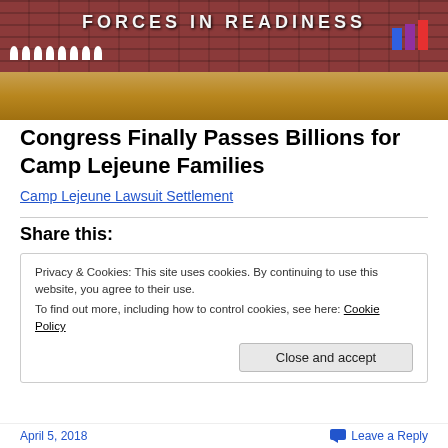[Figure (photo): Photograph of a red brick wall with text 'FORCES IN READINESS' in white letters. White flower memorials and colorful flags/flowers are arranged along the base of the wall. Orange/brown pine straw ground in foreground.]
Congress Finally Passes Billions for Camp Lejeune Families
Camp Lejeune Lawsuit Settlement
Share this:
Privacy & Cookies: This site uses cookies. By continuing to use this website, you agree to their use.
To find out more, including how to control cookies, see here: Cookie Policy
April 5, 2018   Leave a Reply